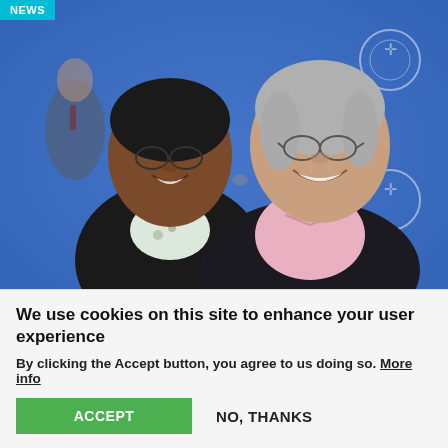[Figure (photo): Two smiling women posing together in front of a blue World Council of Churches banner backdrop. One woman has darker skin and short hair with glasses, wearing a floral-patterned top under a black jacket. The other has gray hair and glasses, wearing a pink shirt under a dark blazer. A man is visible in the background on the left.]
#WCC70: Wie wir zu unserer heutigen Form der Entscheidungsfindung kamen
We use cookies on this site to enhance your user experience
By clicking the Accept button, you agree to us doing so. More info
ACCEPT
NO, THANKS